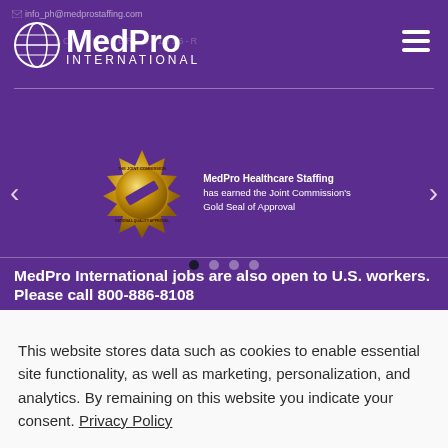info_ph@medprostaffing.com
[Figure (logo): MedPro International globe logo with text MedPro INTERNATIONAL in white on purple background]
[Figure (photo): Gold seal - The Joint Commission Gold Seal of Approval for MedPro Healthcare Staffing]
MedPro Healthcare Staffing has earned the Joint Commission's Gold Seal of Approval
MedPro International jobs are also open to U.S. workers. Please call 800-886-8108
This website stores data such as cookies to enable essential site functionality, as well as marketing, personalization, and analytics. By remaining on this website you indicate your consent. Privacy Policy